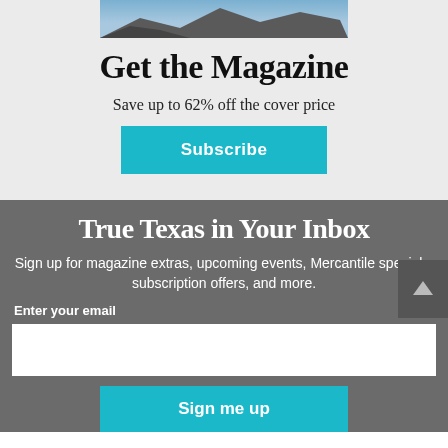[Figure (photo): Partial mountain landscape photo at the top of the page]
Get the Magazine
Save up to 62% off the cover price
Subscribe
True Texas in Your Inbox
Sign up for magazine extras, upcoming events, Mercantile specials, subscription offers, and more.
Enter your email
Sign me up